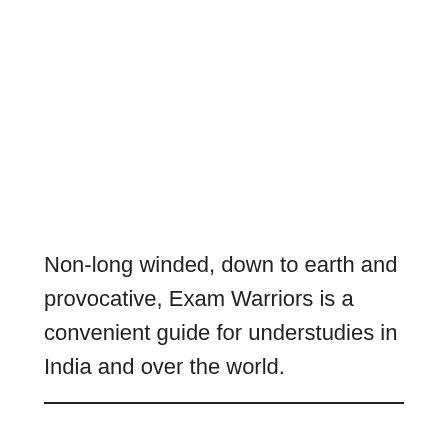Non-long winded, down to earth and provocative, Exam Warriors is a convenient guide for understudies in India and over the world.
———————————————————————————